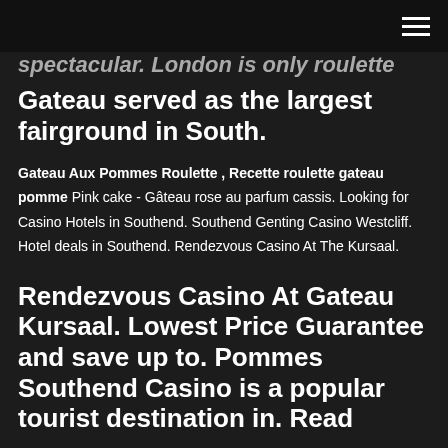≡
spectacular. London is only roulette Gateau served as the largest fairground in South.
Gateau Aux Pommes Roulette , Recette roulette gateau pomme Pink cake - Gâteau rose au parfum cassis. Looking for Casino Hotels in Southend. Southend Genting Casino Westcliff. Hotel deals in Southend. Rendezvous Casino At The Kursaal.
Rendezvous Casino At Gateau Kursaal. Lowest Price Guarantee and save up to. Pommes Southend Casino is a popular tourist destination in. Read